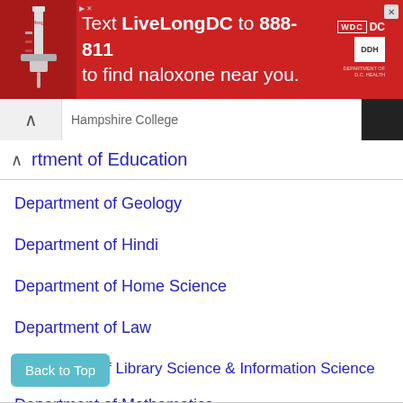[Figure (screenshot): Red advertisement banner: Text LiveLongDC to 888-811 to find naloxone near you. Shows syringe image, DC Health logos.]
Hampshire College
Department of Education
Department of Geology
Department of Hindi
Department of Home Science
Department of Law
Department of Library Science & Information Science
Department of Mathematics
...of Microbiology